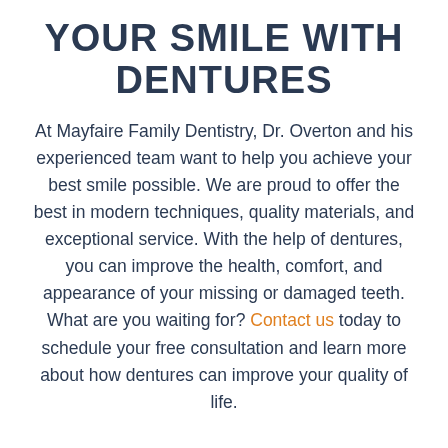YOUR SMILE WITH DENTURES
At Mayfaire Family Dentistry, Dr. Overton and his experienced team want to help you achieve your best smile possible. We are proud to offer the best in modern techniques, quality materials, and exceptional service. With the help of dentures, you can improve the health, comfort, and appearance of your missing or damaged teeth. What are you waiting for? Contact us today to schedule your free consultation and learn more about how dentures can improve your quality of life.